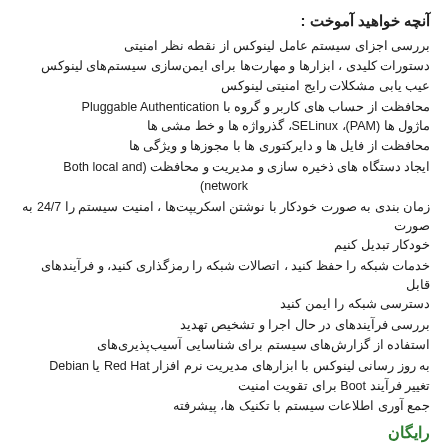آنچه خواهید آموخت :
بررسی اجزای سیستم عامل لینوکس از نقطه نظر امنیتی
دستورات کلیدی ، ابزارها و مهارت‌ها برای ایمن‌سازی سیستم‌های لینوکس
عیب یابی مشکلات رایج امنیتی لینوکس
محافظت از حساب های کاربر و گروه با Pluggable Authentication ماژول ها (PAM)، SELinux، گذرواژه ها و خط مشی ها
محافظت از فایل ها و دایرکتوری ها با مجوزها و ویژگی ها
ایجاد دستگاه های ذخیره سازی و مدیریت و محافظت (Both local and network)
زمان بندی به صورت خودکار با نوشتن اسکریپت‌ها ، امنیت سیستم را 24/7 به صورت خودکار تبدیل کنیم
خدمات شبکه را حفظ کنید ، اتصالات شبکه را رمزگذاری کنید، و فرآیندهای قابل دسترسی شبکه را ایمن کنید
بررسی فرآیندهای در حال اجرا و تشخیص تهدید
استفاده از گزارش‌های سیستم برای شناسایی آسیب‌پذیری‌های
به روز رسانی لینوکس با ابزارهای مدیریت نرم افزار Red Hat یا Debian
تغییر فرآیند Boot برای تقویت امنیت
جمع آوری اطلاعات سیستم با تکنیک ها، پیشرفته
رایگان